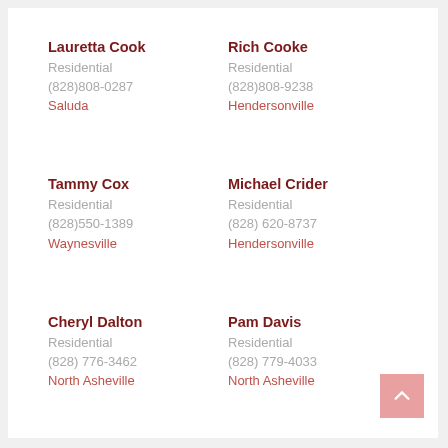Lauretta Cook
Residential
(828)808-0287
Saluda
Rich Cooke
Residential
(828)808-9238
Hendersonville
Tammy Cox
Residential
(828)550-1389
Waynesville
Michael Crider
Residential
(828) 620-8737
Hendersonville
Cheryl Dalton
Residential
(828) 776-3462
North Asheville
Pam Davis
Residential
(828) 779-4033
North Asheville